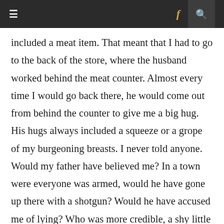≡   f  🔍
included a meat item. That meant that I had to go to the back of the store, where the husband worked behind the meat counter. Almost every time I would go back there, he would come out from behind the counter to give me a big hug. His hugs always included a squeeze or a grope of my burgeoning breasts. I never told anyone. Would my father have believed me? In a town were everyone was armed, would he have gone up there with a shotgun? Would he have accused me of lying? Who was more credible, a shy little black girl or the friendly white grocer who everyone in town loved? As I